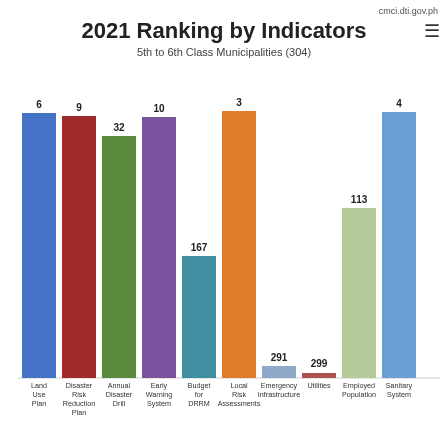cmci.dti.gov.ph
2021 Ranking by Indicators
5th to 6th Class Municipalities (304)
[Figure (bar-chart): 2021 Ranking by Indicators – 5th to 6th Class Municipalities (304)]